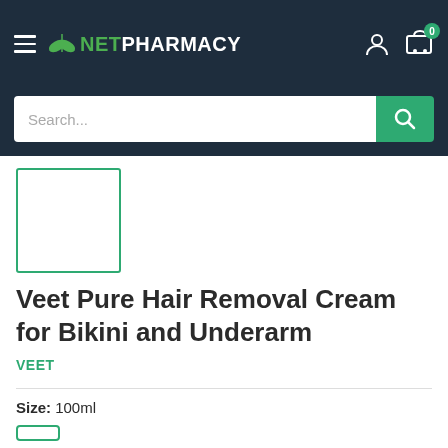NETPHARMACY — navigation header with hamburger menu, logo, user icon, cart icon (0 items)
[Figure (screenshot): Search input bar with green search button]
[Figure (photo): Product thumbnail image placeholder — white square with green border]
Veet Pure Hair Removal Cream for Bikini and Underarm
VEET
Size:  100ml